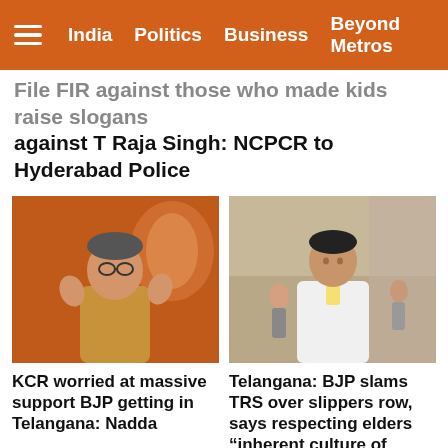India  Politics  Business  Beyond Metros
File FIR against those who made kids raise slogans against T Raja Singh: NCPCR to Hyderabad Police
[Figure (photo): Photo of BJP leader JP Nadda speaking at a rally with BJP lotus symbol in background]
KCR worried at massive support BJP getting in Telangana: Nadda
[Figure (photo): Photo of a man in white shirt with lanyard standing outdoors]
Telangana: BJP slams TRS over slippers row, says respecting elders “inherent culture of party”